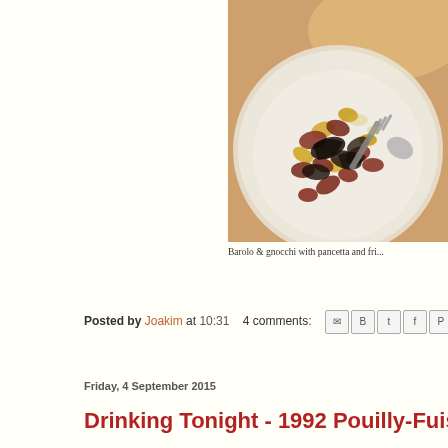[Figure (photo): A plate with gnocchi, pancetta and fried items, photographed from above on a white/beige plate with a fork visible]
Barolo & gnocchi with pancetta and fri...
Posted by Joakim at 10:31   4 comments:
Friday, 4 September 2015
Drinking Tonight - 1992 Pouilly-Fuissé Cl...